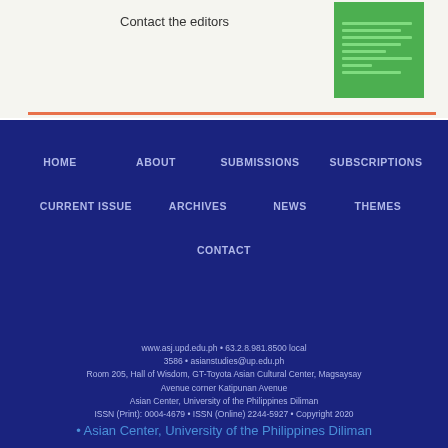Contact the editors
[Figure (illustration): Green box with horizontal lines representing text content]
HOME  ABOUT  SUBMISSIONS  SUBSCRIPTIONS  CURRENT ISSUE  ARCHIVES  NEWS  THEMES  CONTACT
www.asj.upd.edu.ph • 63.2.8.981.8500 local 3586 • asianstudies@up.edu.ph
Room 205, Hall of Wisdom, GT-Toyota Asian Cultural Center, Magsaysay Avenue corner Katipunan Avenue
Asian Center, University of the Philippines Diliman
ISSN (Print): 0004-4679 • ISSN (Online) 2244-5927 • Copyright 2020
• Asian Center, University of the Philippines Diliman